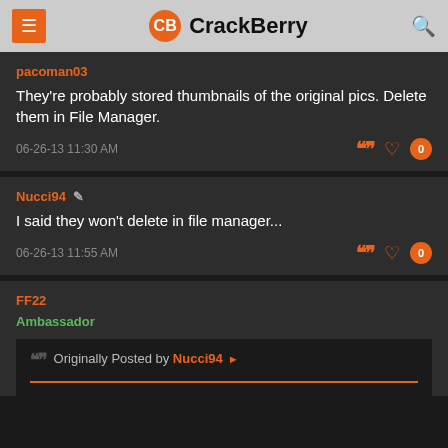CrackBerry
pacoman03
They're probably stored thumbnails of the original pics. Delete them in File Manager.
06-26-13 11:30 AM
Nucci94
I said they won't delete in file manager...
06-26-13 11:55 AM
FF22
Ambassador
Originally Posted by Nucci94